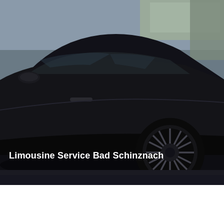[Figure (photo): Side view of a black luxury sedan/limousine with multi-spoke alloy wheels, parked on a street. The car is dark/black colored, shot from the side showing the door panel and rear wheel. Background shows a road and some trees/buildings. White bold text overlaid on the lower left reads 'Limousine Service Bad Schinznach'.]